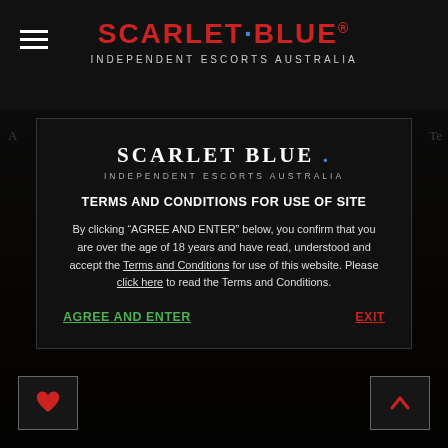[Figure (logo): Scarlet Blue logo with hamburger menu icon on black top bar]
[Figure (screenshot): Background content partially visible behind modal]
[Figure (logo): Scarlet Blue modal logo — SCARLET BLUE with blue dot, INDEPENDENT ESCORTS AUSTRALIA tagline]
TERMS AND CONDITIONS FOR USE OF SITE
By clicking “AGREE AND ENTER” below, you confirm that you are over the age of 18 years and have read, understood and accept the Terms and Conditions for use of this website. Please click here to read the Terms and Conditions.
AGREE AND ENTER
EXIT